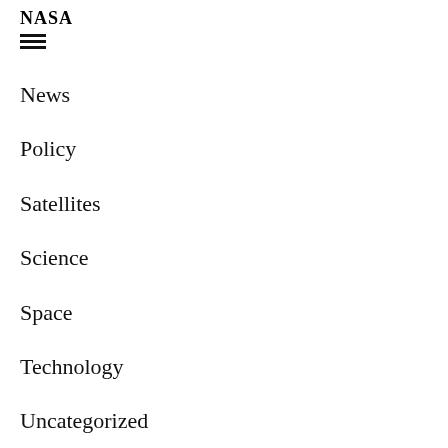NASA
News
Policy
Satellites
Science
Space
Technology
Uncategorized
World